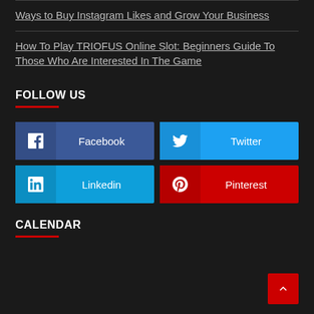Ways to Buy Instagram Likes and Grow Your Business
How To Play TRIOFUS Online Slot: Beginners Guide To Those Who Are Interested In The Game
FOLLOW US
Facebook
Twitter
Linkedin
Pinterest
CALENDAR